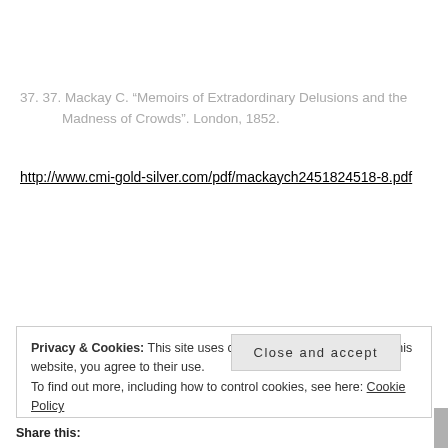37. 37. Mackay C. “Memoirs of Extradordinary Delusions and the Madness of Crowds”. London, 1852.
http://www.cmi-gold-silver.com/pdf/mackaych2451824518-8.pdf
Privacy & Cookies: This site uses cookies. By continuing to use this website, you agree to their use. To find out more, including how to control cookies, see here: Cookie Policy
Close and accept
Share this: